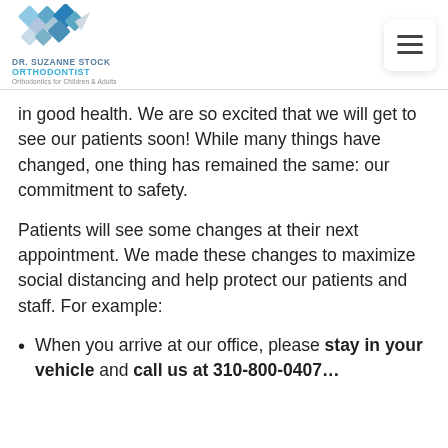DR. SUZANNE STOCK ORTHODONTIST - Orthodontics for Children & Adults
in good health. We are so excited that we will get to see our patients soon! While many things have changed, one thing has remained the same: our commitment to safety.
Patients will see some changes at their next appointment. We made these changes to maximize social distancing and help protect our patients and staff. For example:
When you arrive at our office, please stay in your vehicle and call us at 310-800-0407...